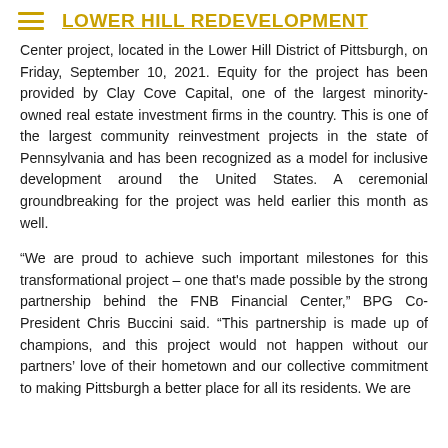LOWER HILL REDEVELOPMENT
Center project, located in the Lower Hill District of Pittsburgh, on Friday, September 10, 2021. Equity for the project has been provided by Clay Cove Capital, one of the largest minority-owned real estate investment firms in the country. This is one of the largest community reinvestment projects in the state of Pennsylvania and has been recognized as a model for inclusive development around the United States. A ceremonial groundbreaking for the project was held earlier this month as well.
“We are proud to achieve such important milestones for this transformational project – one that's made possible by the strong partnership behind the FNB Financial Center,” BPG Co-President Chris Buccini said. “This partnership is made up of champions, and this project would not happen without our partners’ love of their hometown and our collective commitment to making Pittsburgh a better place for all its residents. We are